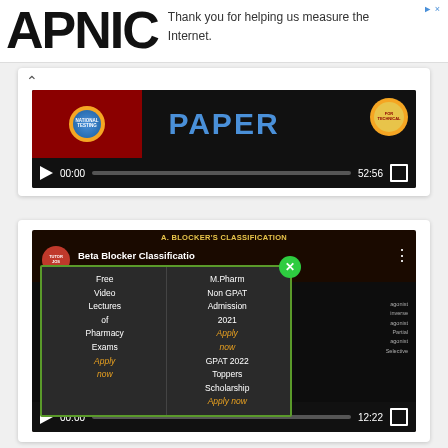[Figure (screenshot): APNIC logo and ad banner saying 'Thank you for helping us measure the Internet.']
[Figure (screenshot): First video player showing a National Testing paper video, time 00:00 / 52:56, with progress bar and controls.]
[Figure (screenshot): Second video player showing 'Beta Blocker Classification' from Tutor Jos channel, time 00:00 / 12:22, with a popup overlay advertising Free Video Lectures of Pharmacy Exams and M.Pharm Non GPAT Admission 2021. Popup has close button. Includes Apply now links in orange italic and GPAT 2022 Toppers Scholarship Apply now.]